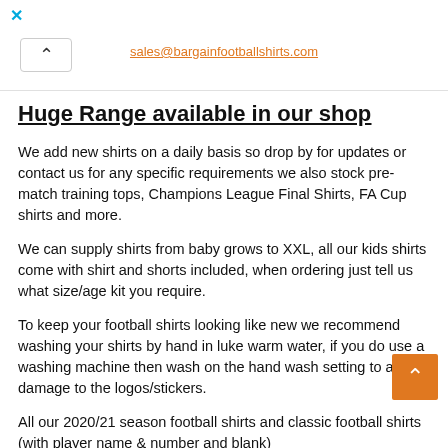sales@bargainfootballshirts.com
Huge Range available in our shop
We add new shirts on a daily basis so drop by for updates or contact us for any specific requirements we also stock pre-match training tops, Champions League Final Shirts, FA Cup shirts and more.
We can supply shirts from baby grows to XXL, all our kids shirts come with shirt and shorts included, when ordering just tell us what size/age kit you require.
To keep your football shirts looking like new we recommend washing your shirts by hand in luke warm water, if you do use a washing machine then wash on the hand wash setting to avoid damage to the logos/stickers.
All our 2020/21 season football shirts and classic football shirts (with player name & number and blank)